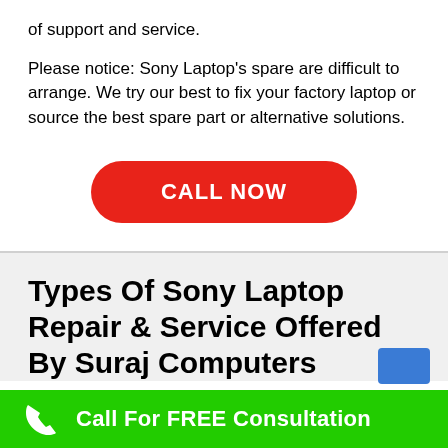of support and service.
Please notice: Sony Laptop's spare are difficult to arrange. We try our best to fix your factory laptop or source the best spare part or alternative solutions.
[Figure (other): Red rounded button with white bold text reading CALL NOW]
Types Of Sony Laptop Repair & Service Offered By Suraj Computers
Call For FREE Consultation